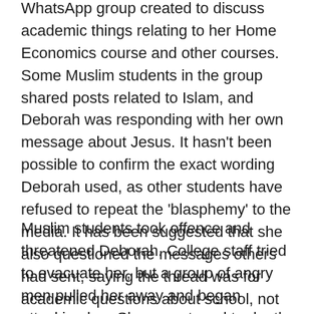WhatsApp group created to discuss academic things relating to her Home Economics course and other courses. Some Muslim students in the group shared posts related to Islam, and Deborah was responding with her own message about Jesus. It hasn't been possible to confirm the exact wording Deborah used, as other students have refused to repeat the 'blasphemy' to the media. It has been suggested that she also questioned the messages others had sent, saying the thread was for academic questions about school, not 'nonsense' about Islam.
Muslim students took offence and threatened Deborah. College staff tried to evacuate her, but a group of angry men pulled her away and began attacking her. She was stoned to death, and then her